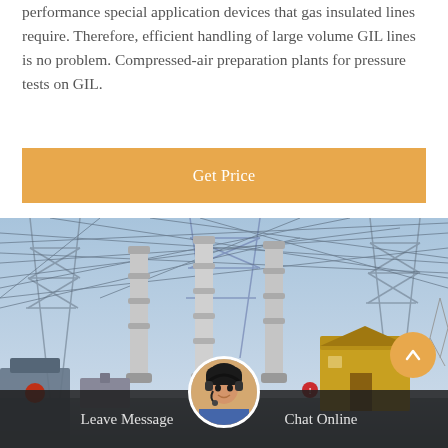performance special application devices that gas insulated lines require. Therefore, efficient handling of large volume GIL lines is no problem. Compressed-air preparation plants for pressure tests on GIL.
[Figure (other): Orange 'Get Price' call-to-action button]
[Figure (photo): Electrical substation with tall cylindrical insulators/bushings, overhead wires, lattice steel structures, and a small yellow utility building. Blue sky background with bare tree branches visible.]
[Figure (photo): Customer service representative with headset - circular avatar image centered in the footer bar]